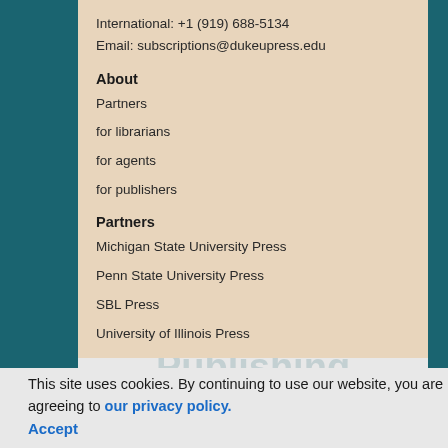International: +1 (919) 688-5134
Email: subscriptions@dukeupress.edu
About
Partners
for librarians
for agents
for publishers
Partners
Michigan State University Press
Penn State University Press
SBL Press
University of Illinois Press
Duke University Press
This site uses cookies. By continuing to use our website, you are agreeing to our privacy policy. Accept